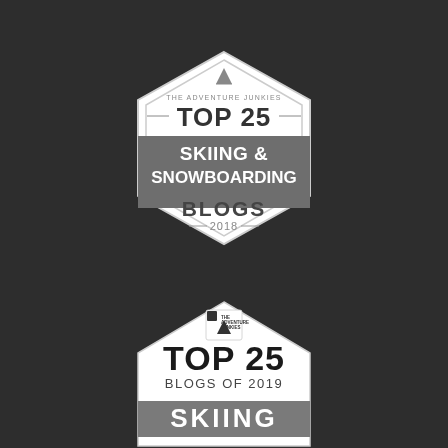[Figure (illustration): The Adventure Junkies Top 25 Skiing & Snowboarding Blogs 2018 badge — hexagonal white badge shape with dark grey banner overlay reading 'SKIING & SNOWBOARDING' and 'BLOGS' below, '2018' at bottom, 'TOP 25' in large text at top, mountain logo at apex]
[Figure (illustration): The Adventure Junkies Top 25 Blogs of 2019 Skiing badge — house/pentagon white badge shape with 'TOP 25' in large bold text, 'BLOGS OF 2019' below, dark grey banner reading 'SKIING', small logo at top with mountain icon]